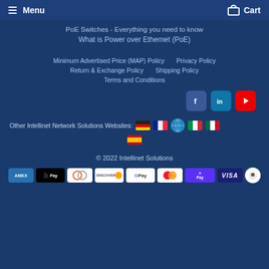Menu   Cart
PoE Switches - Everything you need to know
What is Power over Ethernet (PoE)
Minimum Advertised Price (MAP) Policy
Privacy Policy
Return & Exchange Policy
Shipping Policy
Terms and Conditions
[Figure (logo): Social media icons: Facebook, LinkedIn, YouTube]
Other Intellinet Network Solutions Websites: [Germany] [France] [Global] [Italy] [Mexico] [Spain]
© 2022 Intellinet Solutions
[Figure (other): Payment method icons: Amex, Apple Pay, Diners Club, Discover, Google Pay, Mastercard, Shop Pay, Visa, Chat button]